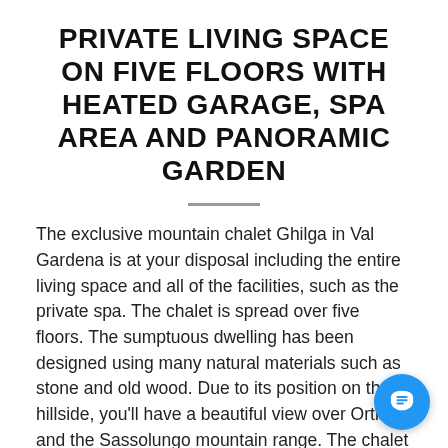PRIVATE LIVING SPACE ON FIVE FLOORS WITH HEATED GARAGE, SPA AREA AND PANORAMIC GARDEN
The exclusive mountain chalet Ghilga in Val Gardena is at your disposal including the entire living space and all of the facilities, such as the private spa. The chalet is spread over five floors. The sumptuous dwelling has been designed using many natural materials such as stone and old wood. Due to its position on the hillside, you'll have a beautiful view over Ortisei and the Sassolungo mountain range. The chalet is south-facing, so you will be able to enjoy plenty of sunshine, with light coming in through the large panoramic windows both in the living area and bedrooms, as well as on the panoramic terrace gard... The garden is equipped with deckchairs and chairs and it